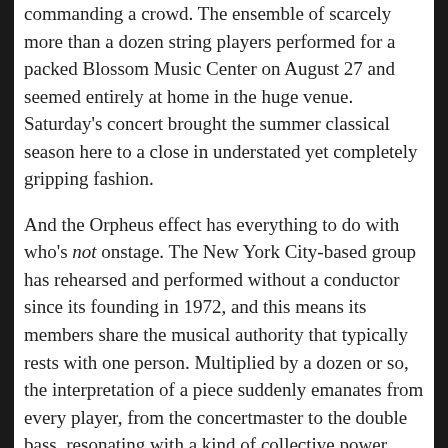commanding a crowd. The ensemble of scarcely more than a dozen string players performed for a packed Blossom Music Center on August 27 and seemed entirely at home in the huge venue. Saturday's concert brought the summer classical season here to a close in understated yet completely gripping fashion.
And the Orpheus effect has everything to do with who's not onstage. The New York City-based group has rehearsed and performed without a conductor since its founding in 1972, and this means its members share the musical authority that typically rests with one person. Multiplied by a dozen or so, the interpretation of a piece suddenly emanates from every player, from the concertmaster to the double bass, resonating with a kind of collective power. [Read on...]
PianoDays @CLE: Michelle Cann features music of Florence Price (Aug